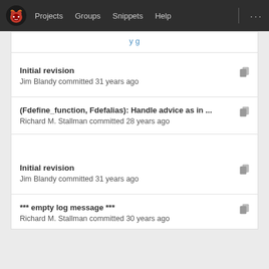Projects  Groups  Snippets  Help
(partial top text visible - cut off)
Initial revision
Jim Blandy committed 31 years ago
(Fdefine_function, Fdefalias): Handle advice as in ...
Richard M. Stallman committed 28 years ago
Initial revision
Jim Blandy committed 31 years ago
*** empty log message ***
Richard M. Stallman committed 30 years ago